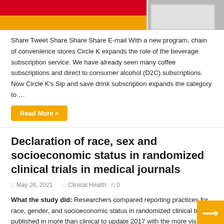[Figure (photo): Top portion of a Circle K convenience store exterior showing red and orange/yellow branding colors with a window/shutter element on the right.]
Share Tweet Share Share Share E-mail With a new program, chain of convenience stores Circle K expands the role of the beverage subscription service. We have already seen many coffee subscriptions and direct to consumer alcohol (D2C) subscriptions. Now Circle K's Sip and save drink subscription expands the category to …
Read More »
Declaration of race, sex and socioeconomic status in randomized clinical trials in medical journals
May 26, 2021   Clinical Health   0
What the study did: Researchers compared reporting practices for race, gender, and socioeconomic status in randomized clinical trials published in more than clinical to update 2017 with the more visible